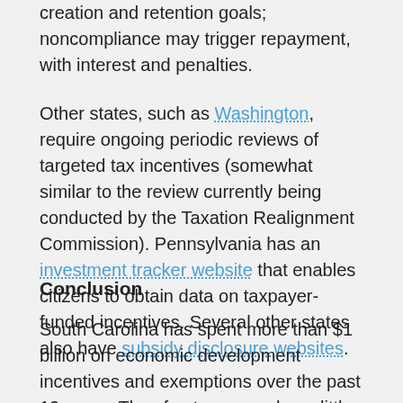creation and retention goals; noncompliance may trigger repayment, with interest and penalties.
Other states, such as Washington, require ongoing periodic reviews of targeted tax incentives (somewhat similar to the review currently being conducted by the Taxation Realignment Commission). Pennsylvania has an investment tracker website that enables citizens to obtain data on taxpayer-funded incentives. Several other states also have subsidy disclosure websites.
Conclusion
South Carolina has spent more than $1 billion on economic development incentives and exemptions over the past 10 years. Thus far, taxpayers have little to show